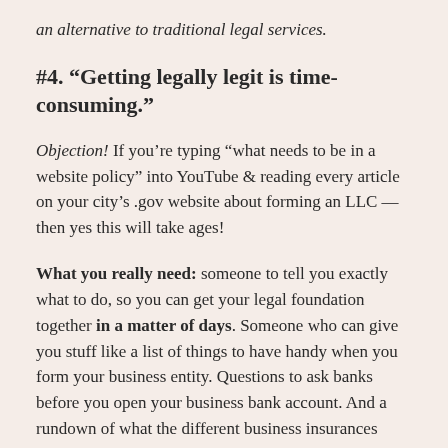an alternative to traditional legal services.
#4. “Getting legally legit is time-consuming.”
Objection! If you’re typing “what needs to be in a website policy” into YouTube & reading every article on your city’s .gov website about forming an LLC — then yes this will take ages!
What you really need: someone to tell you exactly what to do, so you can get your legal foundation together in a matter of days. Someone who can give you stuff like a list of things to have handy when you form your business entity. Questions to ask banks before you open your business bank account. And a rundown of what the different business insurances are... so you don’t call up a broker feeling lost about what you need (they will ask!).